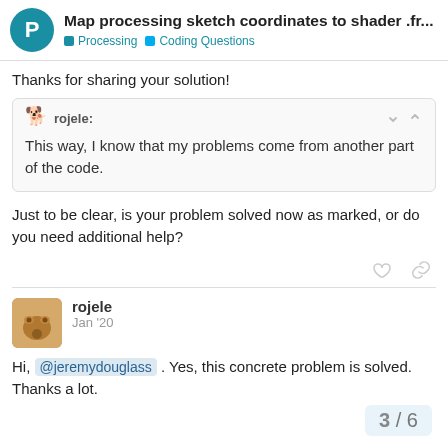Map processing sketch coordinates to shader .fr... | Processing | Coding Questions
Thanks for sharing your solution!
rojele: This way, I know that my problems come from another part of the code.
Just to be clear, is your problem solved now as marked, or do you need additional help?
rojele Jan '20
Hi, @jeremydouglass . Yes, this concrete problem is solved. Thanks a lot.
3 / 6